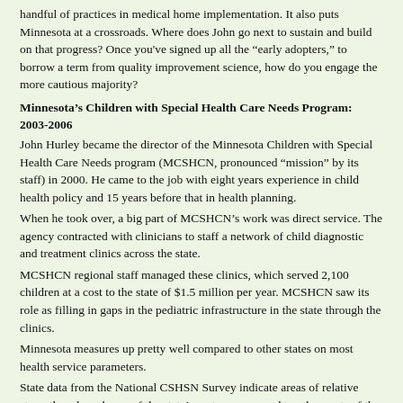handful of practices in medical home implementation. It also puts Minnesota at a crossroads. Where does John go next to sustain and build on that progress? Once you've signed up all the “early adopters,” to borrow a term from quality improvement science, how do you engage the more cautious majority?
Minnesota’s Children with Special Health Care Needs Program: 2003-2006
John Hurley became the director of the Minnesota Children with Special Health Care Needs program (MCSHCN, pronounced “mission” by its staff) in 2000. He came to the job with eight years experience in child health policy and 15 years before that in health planning.
When he took over, a big part of MCSHCN’s work was direct service. The agency contracted with clinicians to staff a network of child diagnostic and treatment clinics across the state.
MCSHCN regional staff managed these clinics, which served 2,100 children at a cost to the state of $1.5 million per year. MCSHCN saw its role as filling in gaps in the pediatric infrastructure in the state through the clinics.
Minnesota measures up pretty well compared to other states on most health service parameters.
State data from the National CSHSN Survey indicate areas of relative strength and weakness of the state’s system compared to other parts of the country.1 While Minnesota ranks high generally